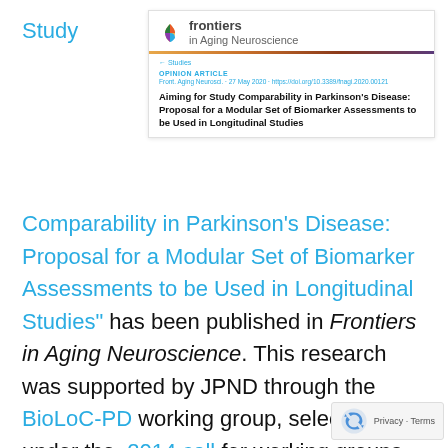Study
[Figure (screenshot): Screenshot of a Frontiers in Aging Neuroscience journal article page showing the article title 'Aiming for Study Comparability in Parkinson's Disease: Proposal for a Modular Set of Biomarker Assessments to be Used in Longitudinal Studies']
Comparability in Parkinson’s Disease: Proposal for a Modular Set of Biomarker Assessments to be Used in Longitudinal Studies” has been published in Frontiers in Aging Neuroscience. This research was supported by JPND through the BioLoC-PD working group, selected under the 2014 call for working groups to inform cohort studies in neurodegenerative disease research.